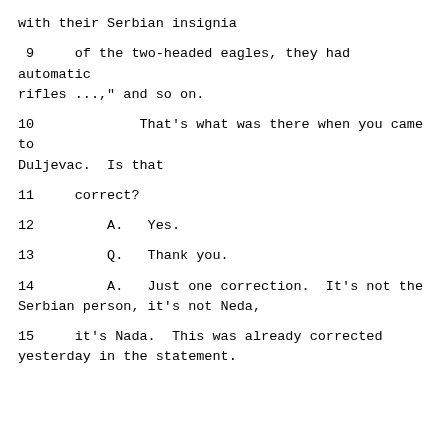with their Serbian insignia
9     of the two-headed eagles, they had automatic rifles ...," and so on.
10             That's what was there when you came to Duljevac.  Is that
11     correct?
12         A.   Yes.
13         Q.   Thank you.
14         A.   Just one correction.  It's not the Serbian person, it's not Neda,
15     it's Nada.  This was already corrected yesterday in the statement.